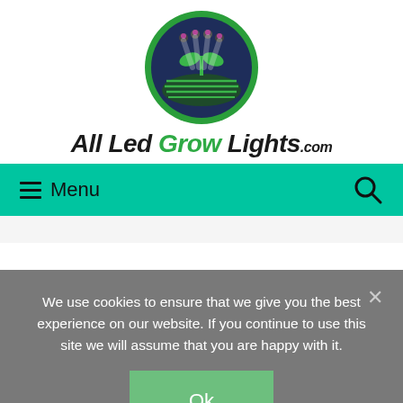[Figure (logo): All Led Grow Lights logo: circular green badge with plant sprout and grow lights above horizontal stripes, with text 'All Led Grow Lights.com' below in bold italic black and green]
≡ Menu  🔍
We use cookies to ensure that we give you the best experience on our website. If you continue to use this site we will assume that you are happy with it.
Ok